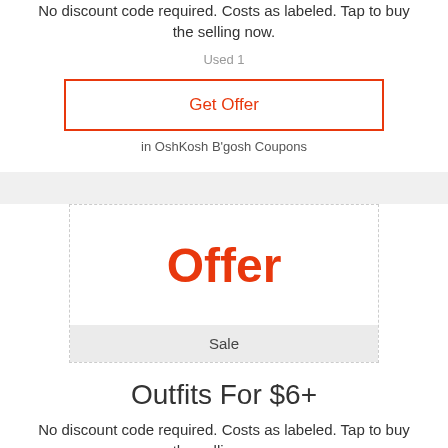No discount code required. Costs as labeled. Tap to buy the selling now.
Used 1
Get Offer
in OshKosh B'gosh Coupons
[Figure (other): Coupon offer box with 'Offer' in large red text and 'Sale' label in grey bar at bottom, dashed border]
Outfits For $6+
No discount code required. Costs as labeled. Tap to buy the selling now.